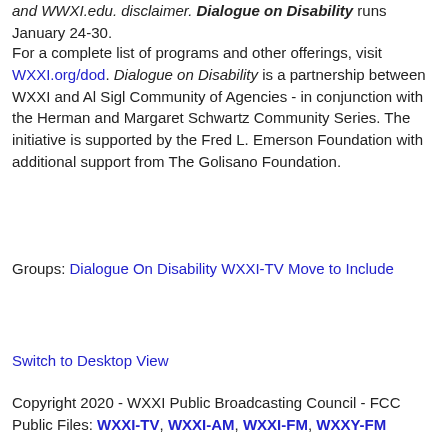and WWXI.edu. disclaimer. Dialogue on Disability runs January 24-30.
For a complete list of programs and other offerings, visit WXXI.org/dod. Dialogue on Disability is a partnership between WXXI and Al Sigl Community of Agencies - in conjunction with the Herman and Margaret Schwartz Community Series. The initiative is supported by the Fred L. Emerson Foundation with additional support from The Golisano Foundation.
Groups: Dialogue On Disability WXXI-TV Move to Include
Switch to Desktop View
Copyright 2020 - WXXI Public Broadcasting Council - FCC Public Files: WXXI-TV, WXXI-AM, WXXI-FM, WXXY-FM